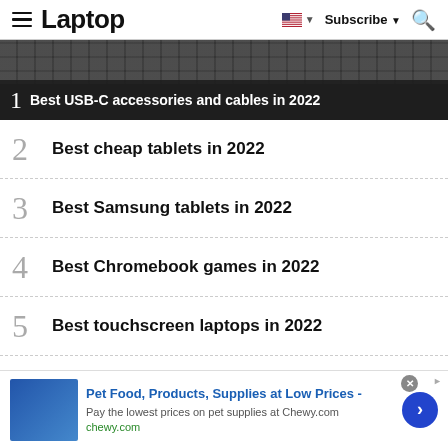Laptop — Subscribe
[Figure (photo): Dark background image showing keyboard keys, with overlay showing item 1: Best USB-C accessories and cables in 2022]
2  Best cheap tablets in 2022
3  Best Samsung tablets in 2022
4  Best Chromebook games in 2022
5  Best touchscreen laptops in 2022
[Figure (other): Advertisement banner: Pet Food, Products, Supplies at Low Prices - Pay the lowest prices on pet supplies at Chewy.com — chewy.com]